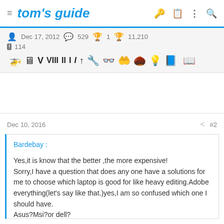tom's guide
Dec 17, 2012  529  1  11,210  114
[Figure (other): User badge/achievement icons row]
Dec 10, 2016  #2
Bardebay :
Yes,it is know that the better ,the more expensive!
Sorry,I have a question that does any one have a solutions for me to choose which laptop is good for like heavy editing.Adobe everything(let's say like that.)yes,I am so confused which one I should have.
Asus?Msi?or dell?